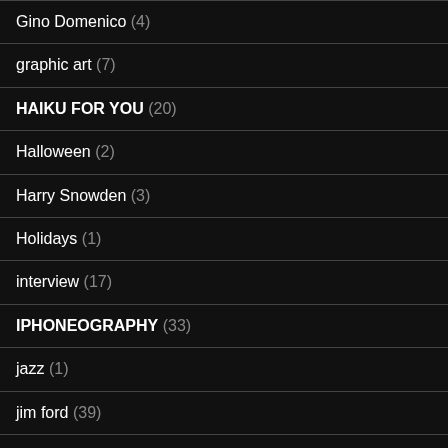Gino Domenico (4)
graphic art (7)
HAIKU FOR YOU (20)
Halloween (2)
Harry Snowden (3)
Holidays (1)
interview (17)
IPHONEOGRAPHY (33)
jazz (1)
jim ford (39)
Jim McKinniss (2)
jim robertson (21)